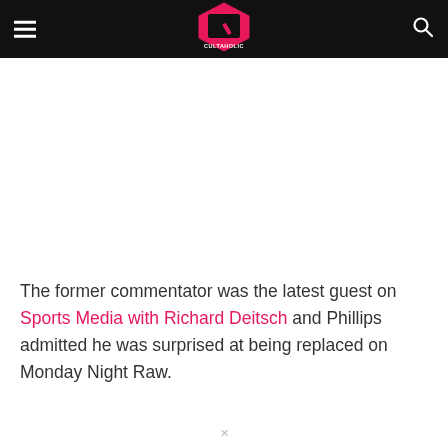Cultaholic
The former commentator was the latest guest on Sports Media with Richard Deitsch and Phillips admitted he was surprised at being replaced on Monday Night Raw.